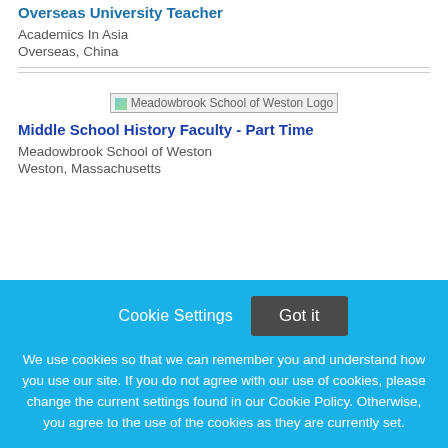Overseas University Teacher
Academics In Asia
Overseas, China
[Figure (logo): Meadowbrook School of Weston Logo]
Middle School History Faculty - Part Time
Meadowbrook School of Weston
Weston, Massachusetts
Cookie Settings
Got it
We use cookies so that we can remember you and understand how you use our site. If you do not agree with our use of cookies, please change the current settings found in our Cookie Policy. Otherwise, you agree to the use of the cookies as they are currently set.